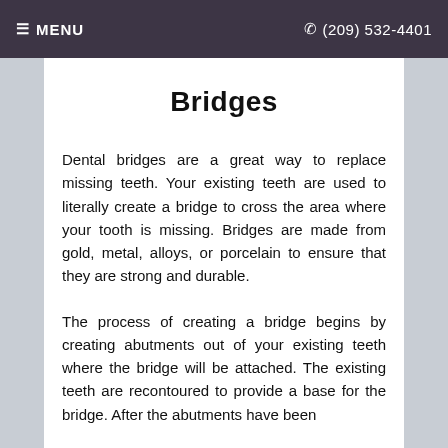☰ MENU   ✆ (209) 532-4401
Bridges
Dental bridges are a great way to replace missing teeth. Your existing teeth are used to literally create a bridge to cross the area where your tooth is missing. Bridges are made from gold, metal, alloys, or porcelain to ensure that they are strong and durable.
The process of creating a bridge begins by creating abutments out of your existing teeth where the bridge will be attached. The existing teeth are recontoured to provide a base for the bridge. After the abutments have been